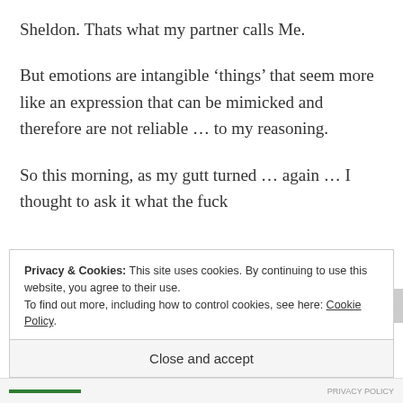Sheldon. Thats what my partner calls Me.
But emotions are intangible ‘things’ that seem more like an expression that can be mimicked and therefore are not reliable ... to my reasoning.
So this morning, as my gutt turned ... again ... I thought to ask it what the fuck
Privacy & Cookies: This site uses cookies. By continuing to use this website, you agree to their use.
To find out more, including how to control cookies, see here: Cookie Policy
Close and accept